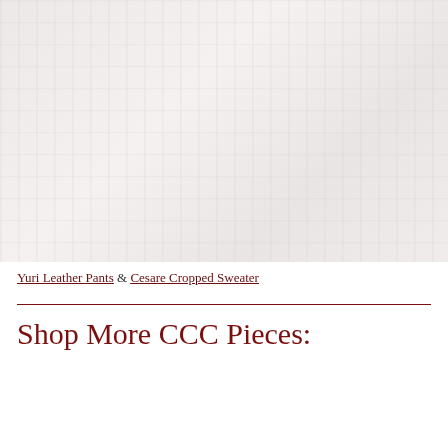[Figure (photo): Faded/washed out fashion photo showing a person wearing leather pants and a cropped sweater, with very light pink/beige tones]
Yuri Leather Pants & Cesare Cropped Sweater
Shop More CCC Pieces: